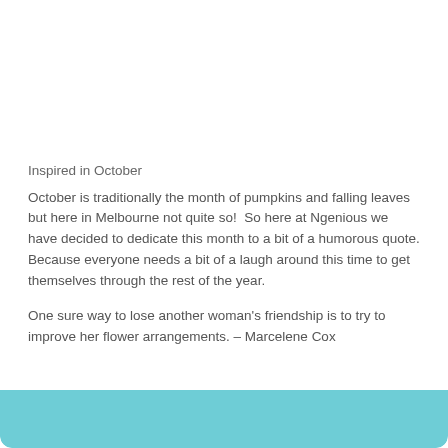Inspired in October
October is traditionally the month of pumpkins and falling leaves but here in Melbourne not quite so!  So here at Ngenious we have decided to dedicate this month to a bit of a humorous quote. Because everyone needs a bit of a laugh around this time to get themselves through the rest of the year.
One sure way to lose another woman's friendship is to try to improve her flower arrangements. – Marcelene Cox